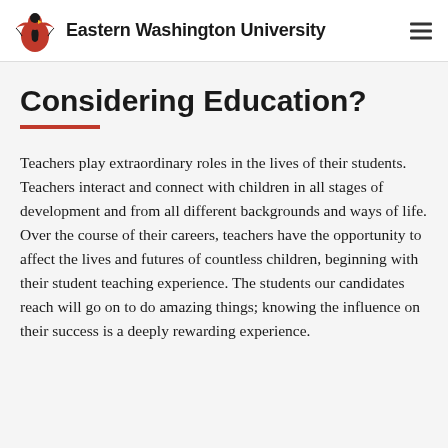Eastern Washington University
Considering Education?
Teachers play extraordinary roles in the lives of their students. Teachers interact and connect with children in all stages of development and from all different backgrounds and ways of life. Over the course of their careers, teachers have the opportunity to affect the lives and futures of countless children, beginning with their student teaching experience. The students our candidates reach will go on to do amazing things; knowing the influence on their success is a deeply rewarding experience.